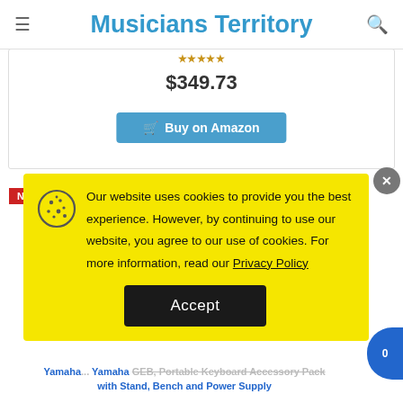Musicians Territory
$349.73
[Figure (screenshot): Buy on Amazon button in blue]
[Figure (screenshot): NEW badge in red]
[Figure (infographic): Cookie consent popup with yellow background. Text: Our website uses cookies to provide you the best experience. However, by continuing to use our website, you agree to our use of cookies. For more information, read our Privacy Policy. Accept button.]
Yamaha... Yamaha GEB, Portable Keyboard Accessory Pack with Stand, Bench and Power Supply